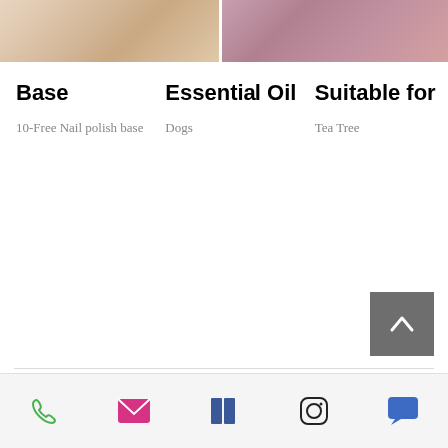[Figure (photo): Two partial product images at the top: left shows a close-up of a nail/skin texture in beige tones, right shows a close-up with purple/pink tones.]
Base
10-Free Nail polish base
Essential Oil
Dogs
Suitable for
Tea Tree
[Figure (other): Back to top button - a grey square with an upward chevron arrow icon]
Footer navigation bar with icons: phone, email, Facebook, Instagram, chat/message